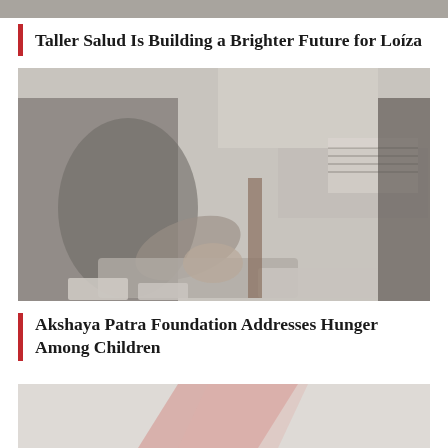[Figure (photo): Partial top strip of a photo visible at the very top of the page]
Taller Salud Is Building a Brighter Future for Loíza
[Figure (photo): A person preparing or serving food at a table with trays and containers in what appears to be a kitchen or food service setting]
Akshaya Patra Foundation Addresses Hunger Among Children
[Figure (photo): Partial bottom photo showing a light grey background with a reddish triangular shape visible]